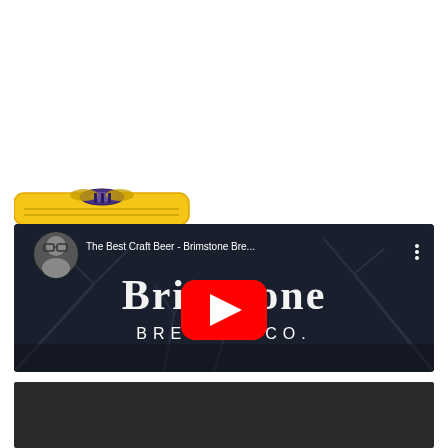[Figure (logo): Yellow rounded rectangle logo with a bee/insect graphic in purple and gold colors, partially visible at bottom]
[Figure (screenshot): YouTube video thumbnail for 'The Best Craft Beer - Brimstone Bre...' showing a user avatar on left, Brimstone Brewing Co. gothic text logo over dark tree branches background, with red YouTube play button in center and three-dot menu icon on right]
[Figure (screenshot): Dark grey/black bar at bottom, partial screenshot of webpage content below the video]